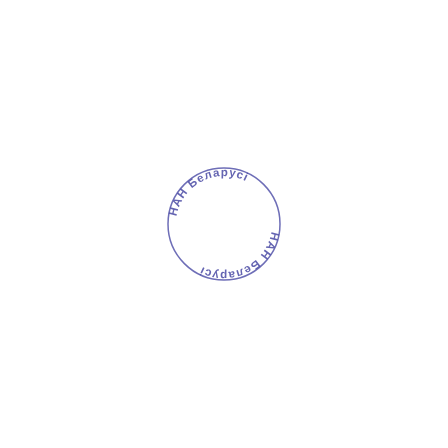[Figure (other): Circular stamp/seal with Cyrillic text 'НАН Беларусі' arranged in a circle, repeated twice (top arc and bottom arc), forming a round official stamp of the National Academy of Sciences of Belarus.]